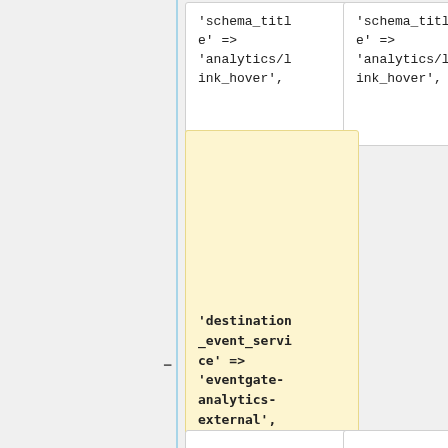[Figure (screenshot): Code diff view showing two columns of code boxes. Top row shows two boxes both containing "'schema_title' => 'analytics/link_hover',". Middle row shows a highlighted (yellow background) box containing "'destination_event_service' => 'eventgate-analytics-external'," with a diff minus marker. Bottom row shows two boxes both containing "'sampling' => [".]
'schema_title' => 'analytics/link_hover',
'schema_title' => 'analytics/link_hover',
'destination_event_service' => 'eventgate-analytics-external',
'sampling' => [
'sampling' => [